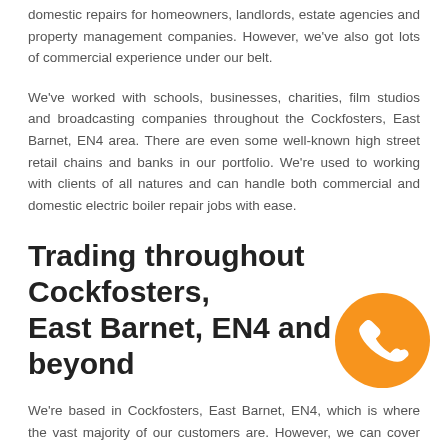domestic repairs for homeowners, landlords, estate agencies and property management companies. However, we've also got lots of commercial experience under our belt.
We've worked with schools, businesses, charities, film studios and broadcasting companies throughout the Cockfosters, East Barnet, EN4 area. There are even some well-known high street retail chains and banks in our portfolio. We're used to working with clients of all natures and can handle both commercial and domestic electric boiler repair jobs with ease.
Trading throughout Cockfosters, East Barnet, EN4 and beyond
We're based in Cockfosters, East Barnet, EN4, which is where the vast majority of our customers are. However, we can cover the surrounding areas so be sure to get in touch if you're just outside of the EN42 postcode.
[Figure (illustration): Orange circular phone call button/badge with white telephone handset icon]